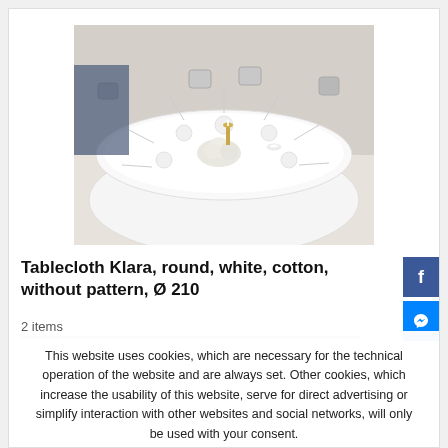[Figure (photo): Aerial view of a round, elegantly set white tablecloth table with candles, flowers, and silverware in a banquet hall setting.]
Tablecloth Klara, round, white, cotton, without pattern, Ø 210
This website uses cookies, which are necessary for the technical operation of the website and are always set. Other cookies, which increase the usability of this website, serve for direct advertising or simplify interaction with other websites and social networks, will only be used with your consent.
Configure  Accept all